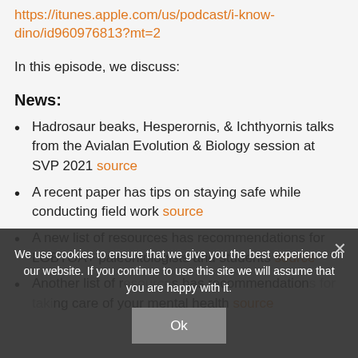https://itunes.apple.com/us/podcast/i-know-dino/id960976813?mt=2
In this episode, we discuss:
News:
Hadrosaur beaks, Hesperornis, & Ichthyornis talks from the Avialan Evolution & Biology session at SVP 2021 source
A recent paper has tips on staying safe while conducting field work source
A new list of resources has recommendations for LGBTOA+ paleontologists and students source
Another list of [resources] has recommendations [for] taking care of your mental health source
We use cookies to ensure that we give you the best experience on our website. If you continue to use this site we will assume that you are happy with it.